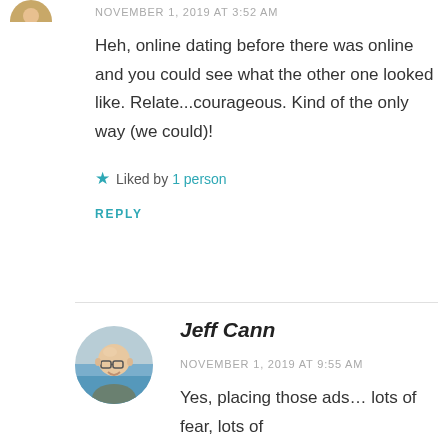NOVEMBER 1, 2019 AT 3:52 AM
Heh, online dating before there was online and you could see what the other one looked like. Relate...courageous. Kind of the only way (we could)!
Liked by 1 person
REPLY
[Figure (photo): Circular avatar photo of Jeff Cann, a bald man with glasses, smiling]
Jeff Cann
NOVEMBER 1, 2019 AT 9:55 AM
Yes, placing those ads... lots of fear, lots of